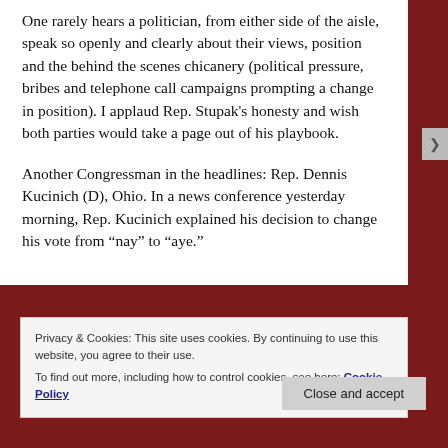One rarely hears a politician, from either side of the aisle, speak so openly and clearly about their views, position and the behind the scenes chicanery (political pressure, bribes and telephone call campaigns prompting a change in position). I applaud Rep. Stupak's honesty and wish both parties would take a page out of his playbook.
Another Congressman in the headlines: Rep. Dennis Kucinich (D), Ohio. In a news conference yesterday morning, Rep. Kucinich explained his decision to change his vote from “nay” to “aye.”
Privacy & Cookies: This site uses cookies. By continuing to use this website, you agree to their use.
To find out more, including how to control cookies, see here: Cookie Policy